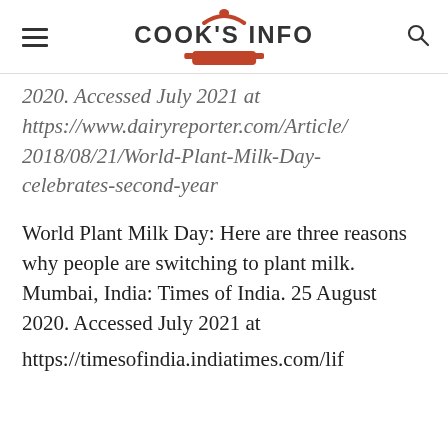COOK'S INFO
2020. Accessed July 2021 at https://www.dairyreporter.com/Article/2018/08/21/World-Plant-Milk-Day-celebrates-second-year
World Plant Milk Day: Here are three reasons why people are switching to plant milk. Mumbai, India: Times of India. 25 August 2020. Accessed July 2021 at https://timesofindia.indiatimes.com/lif